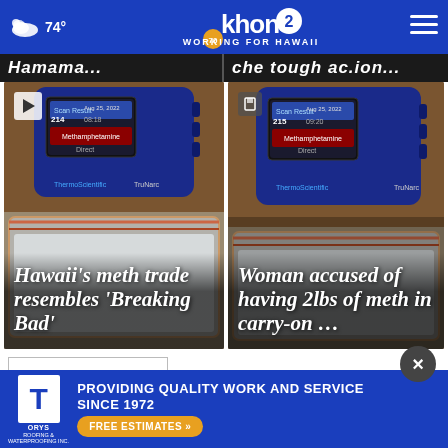74° | KHON2 WORKING FOR HAWAII
[Figure (screenshot): Partially visible dark banner with italic white text]
[Figure (photo): Drug testing device showing 'Methamphetamine' result with bag of white powder. Title: Hawaii's meth trade resembles 'Breaking Bad']
[Figure (photo): Drug testing device showing 'Methamphetamine' result with bag of white powder. Title: Woman accused of having 2lbs of meth in carry-on ...]
To
[Figure (screenshot): Torys Roofing & Waterproofing advertisement: PROVIDING QUALITY WORK AND SERVICE SINCE 1972. FREE ESTIMATES.]